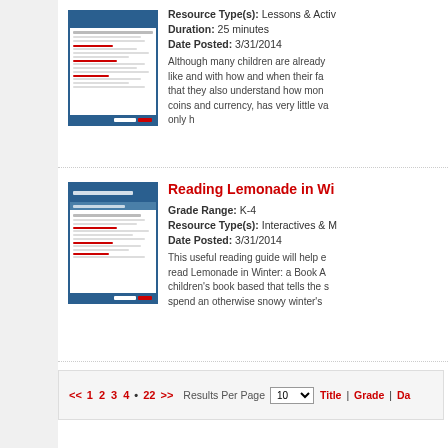[Figure (screenshot): Thumbnail image of a document page with blue header and text lines]
Resource Type(s): Lessons & Activities
Duration: 25 minutes
Date Posted: 3/31/2014
Although many children are already familiar with what money looks like and with how and when their families use money, it is important that they also understand how money works. Money, whether in coins and currency, has very little value in and of itself, but becomes only h
[Figure (screenshot): Thumbnail image of Reading Lemonade in Winter document with blue header]
Reading Lemonade in Winter
Grade Range: K-4
Resource Type(s): Interactives & Media
Date Posted: 3/31/2014
This useful reading guide will help educators and parents as children read Lemonade in Winter: a Book About Two Kids Counting Money, a children's book based that tells the story of two siblings who decide to spend an otherwise snowy winter's
<< 1 2 3 4 • 22 >> Results Per Page 10 ▾ Title | Grade | Date